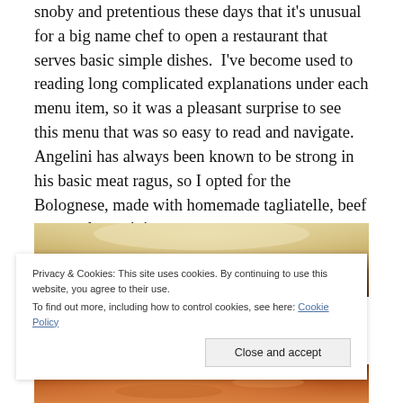snoby and pretentious these days that it's unusual for a big name chef to open a restaurant that serves basic simple dishes.  I've become used to reading long complicated explanations under each menu item, so it was a pleasant surprise to see this menu that was so easy to read and navigate.  Angelini has always been known to be strong in his basic meat ragus, so I opted for the Bolognese, made with homemade tagliatelle, beef ragu and parmigiano.
[Figure (photo): Top portion of a white ceramic plate with dark background]
Privacy & Cookies: This site uses cookies. By continuing to use this website, you agree to their use.
To find out more, including how to control cookies, see here: Cookie Policy
[Figure (photo): Bottom portion showing food — pasta with meat sauce (Bolognese)]